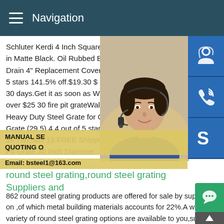Navigation
Schluter Kerdi 4 Inch Square Stainless Ste in Matte Black. Oil Rubbed Bronze Round Drain 4" Replacement Cover + Tapping M 5 stars 141.5% off.$19.30 $ 19.30 $20.30 30 days.Get it as soon as Wed,Nov 25.FR over $25 30 fire pit grateWalden Fire Pit G Heavy Duty Steel Grate for Outdoor Firep Grate (29.5) 4.4 out of 5 stars 95.$199.99 as Thu,Nov 19.FREE Shipping by .SteelFi Pit Grate,30 Inch Diameter - Made in The
[Figure (photo): Woman with headset smiling, customer service representative]
MANUAL SE QUOTING O Email: bsteel1@163.com
round steel grating,round steel grating Suppliers and
862 round steel grating products are offered for sale by suppli on ,of which metal building materials accounts for 22%.A wide variety of round steel grating options are available to you,such